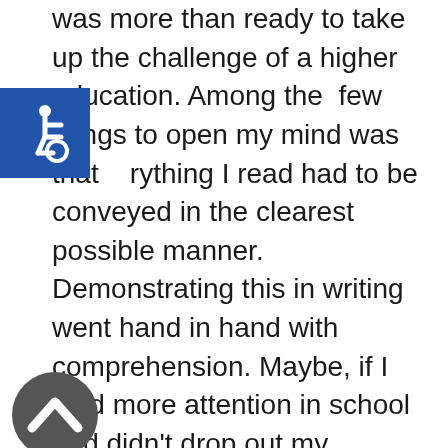was more than ready to take up the challenge of a higher education. Among the few things to open my mind was that everything I read had to be conveyed in the clearest possible manner. Demonstrating this in writing went hand in hand with comprehension. Maybe, if I paid more attention in school and didn't drop out my sophomore year, comprehensive reading and writing wouldn't have seemed like some new and fabulous skill that swelled my chest with its potential.

ps that since coming to prison I have fallen in love with reading. I began reading
[Figure (illustration): Blue square icon with white wheelchair accessibility symbol]
[Figure (illustration): Dark gray circular icon with white upward chevron/arrow symbol]